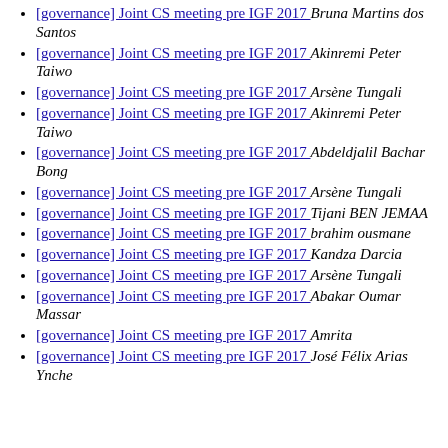[governance] Joint CS meeting pre IGF 2017  Bruna Martins dos Santos
[governance] Joint CS meeting pre IGF 2017  Akinremi Peter Taiwo
[governance] Joint CS meeting pre IGF 2017  Arsène Tungali
[governance] Joint CS meeting pre IGF 2017  Akinremi Peter Taiwo
[governance] Joint CS meeting pre IGF 2017  Abdeldjalil Bachar Bong
[governance] Joint CS meeting pre IGF 2017  Arsène Tungali
[governance] Joint CS meeting pre IGF 2017  Tijani BEN JEMAA
[governance] Joint CS meeting pre IGF 2017  brahim ousmane
[governance] Joint CS meeting pre IGF 2017  Kandza Darcia
[governance] Joint CS meeting pre IGF 2017  Arsène Tungali
[governance] Joint CS meeting pre IGF 2017  Abakar Oumar Massar
[governance] Joint CS meeting pre IGF 2017  Amrita
[governance] Joint CS meeting pre IGF 2017  José Félix Arias Ynche